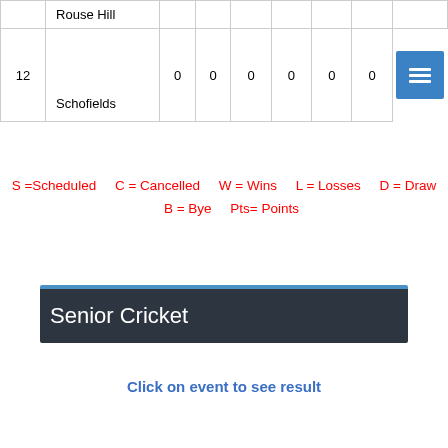| # | Team |  |  |  |  |  |  |  |
| --- | --- | --- | --- | --- | --- | --- | --- | --- |
|  | Rouse Hill |  |  |  |  |  |  |  |
| 12 | Schofields | 0 | 0 | 0 | 0 | 0 | 0 | ☰ |
S =Scheduled    C = Cancelled    W = Wins    L = Losses    D = Draw    B = Bye    Pts= Points
Senior Cricket
Click on event to see result